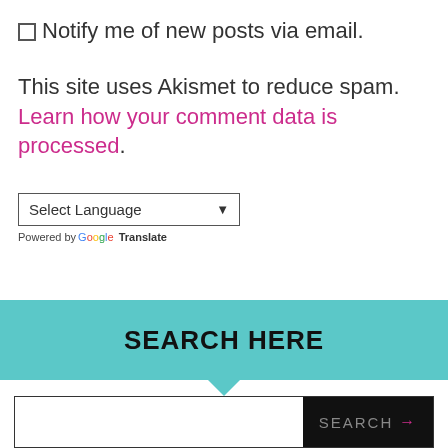□ Notify me of new posts via email.
This site uses Akismet to reduce spam. Learn how your comment data is processed.
[Figure (other): Select Language dropdown widget with Google Translate branding below it]
SEARCH HERE
[Figure (screenshot): Search input bar with dark SEARCH button and arrow]